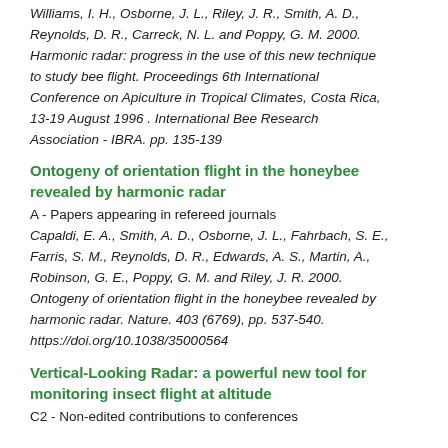Williams, I. H., Osborne, J. L., Riley, J. R., Smith, A. D., Reynolds, D. R., Carreck, N. L. and Poppy, G. M. 2000. Harmonic radar: progress in the use of this new technique to study bee flight. Proceedings 6th International Conference on Apiculture in Tropical Climates, Costa Rica, 13-19 August 1996 . International Bee Research Association - IBRA. pp. 135-139
Ontogeny of orientation flight in the honeybee revealed by harmonic radar
A - Papers appearing in refereed journals
Capaldi, E. A., Smith, A. D., Osborne, J. L., Fahrbach, S. E., Farris, S. M., Reynolds, D. R., Edwards, A. S., Martin, A., Robinson, G. E., Poppy, G. M. and Riley, J. R. 2000. Ontogeny of orientation flight in the honeybee revealed by harmonic radar. Nature. 403 (6769), pp. 537-540. https://doi.org/10.1038/35000564
Vertical-Looking Radar: a powerful new tool for monitoring insect flight at altitude
C2 - Non-edited contributions to conferences